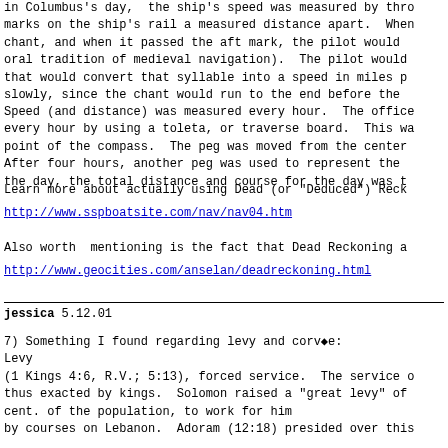in Columbus's day, the ship's speed was measured by thro marks on the ship's rail a measured distance apart. When chant, and when it passed the aft mark, the pilot would oral tradition of medieval navigation). The pilot would that would convert that syllable into a speed in miles p slowly, since the chant would run to the end before the
Speed (and distance) was measured every hour. The office every hour by using a toleta, or traverse board. This wa point of the compass. The peg was moved from the center After four hours, another peg was used to represent the the day, the total distance and course for the day was t
Learn more about actually using Dead (or "Deduced") Reck
http://www.sspboatsite.com/nav/nav04.htm
Also worth  mentioning is the fact that Dead Reckoning a
http://www.geocities.com/anselan/deadreckoning.html
jessica 5.12.01
7) Something I found regarding levy and corv◆e:
Levy
(1 Kings 4:6, R.V.; 5:13), forced service. The service o thus exacted by kings. Solomon raised a "great levy" of cent. of the population, to work for him
by courses on Lebanon. Adoram (12:18) presided over this